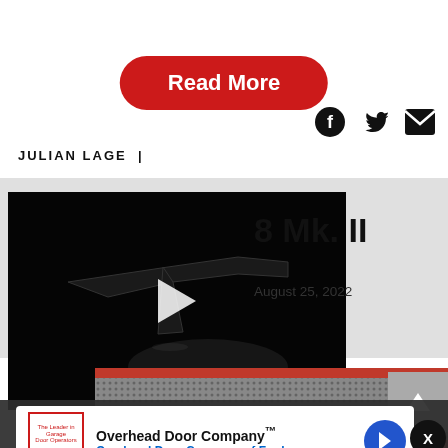Read More
[Figure (screenshot): Social media share icons: Facebook, Twitter, Email]
JULIAN LAGE  |
[Figure (screenshot): Video thumbnail showing a dark product teaser with play button]
8 Mk. II
August 25, 2022
[Figure (photo): Red and gray product image partially visible at bottom]
Overhead Door Company™ Overhead Door Company of Fred.